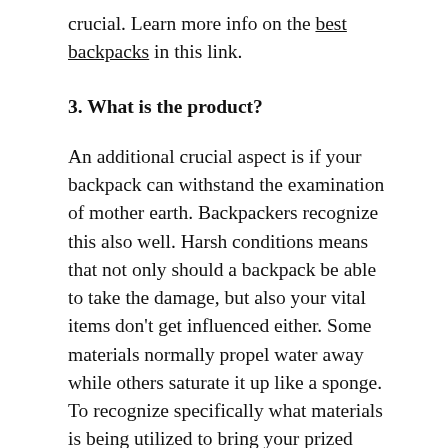crucial. Learn more info on the best backpacks in this link.
3. What is the product?
An additional crucial aspect is if your backpack can withstand the examination of mother earth. Backpackers recognize this also well. Harsh conditions means that not only should a backpack be able to take the damage, but also your vital items don't get influenced either. Some materials normally propel water away while others saturate it up like a sponge. To recognize specifically what materials is being utilized to bring your prized possessions is not just wise, however can conserve you a stack load of difficulty in the future.
4. What functions does it include?
Knowing the little additionals your bag can do is a